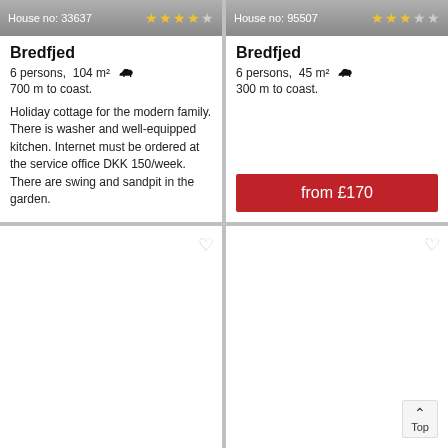House no: 33637
★★★★☆
Bredfjed
6 persons,  104 m²  🐕
700 m to coast.
Holiday cottage for the modern family. There is washer and well-equipped kitchen. Internet must be ordered at the service office DKK 150/week. There are swing and sandpit in the garden.
from £180
House no: 95507
★★★☆☆
Bredfjed
6 persons,  45 m²  🐕
300 m to coast.
from £170